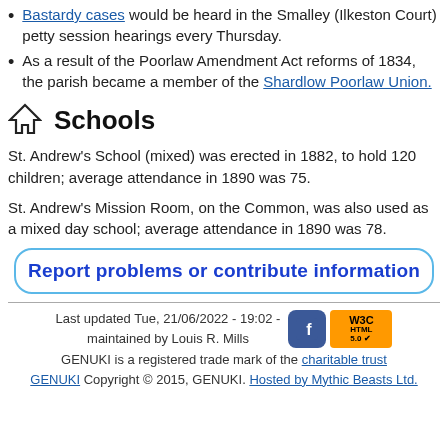Bastardy cases would be heard in the Smalley (Ilkeston Court) petty session hearings every Thursday.
As a result of the Poorlaw Amendment Act reforms of 1834, the parish became a member of the Shardlow Poorlaw Union.
Schools
St. Andrew's School (mixed) was erected in 1882, to hold 120 children; average attendance in 1890 was 75.
St. Andrew's Mission Room, on the Common, was also used as a mixed day school; average attendance in 1890 was 78.
Report problems or contribute information
Last updated Tue, 21/06/2022 - 19:02 - maintained by Louis R. Mills GENUKI is a registered trade mark of the charitable trust GENUKI Copyright © 2015, GENUKI. Hosted by Mythic Beasts Ltd.